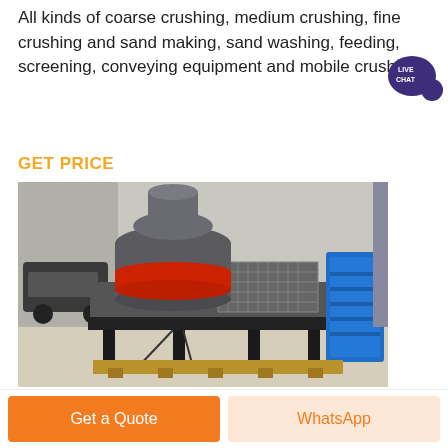All kinds of coarse crushing, medium crushing, fine crushing and sand making, sand washing, feeding, screening, conveying equipment and mobile crushing
[Figure (illustration): Live Chat speech bubble badge with dark purple color, text 'LIVE CHAT']
GET PRICE
[Figure (photo): Industrial sand making machine / vertical shaft impact crusher on a factory floor. Machine is large, grey with a red horizontal band, mounted on a black metal frame with mesh guarding. Blue equipment visible in background right.]
Sand, Stone, Soil Building Aggregates Suppl
Get a Quote
WhatsApp